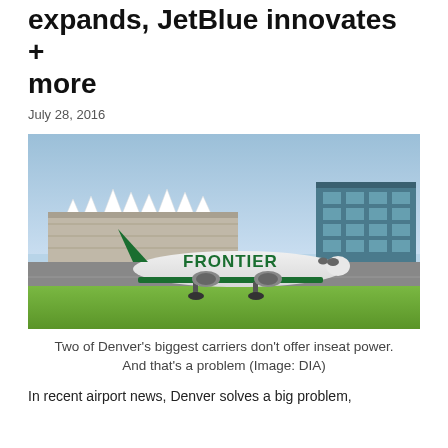expands, JetBlue innovates + more
July 28, 2016
[Figure (photo): A Frontier Airlines aircraft on the tarmac at Denver International Airport (DIA), with the iconic white tent roof structure visible in the background along with a large glass building on the right.]
Two of Denver's biggest carriers don't offer inseat power. And that's a problem (Image: DIA)
In recent airport news, Denver solves a big problem,